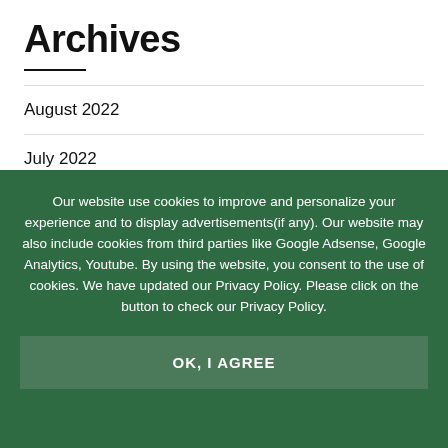Archives
August 2022
July 2022
June 2022
Our website use cookies to improve and personalize your experience and to display advertisements(if any). Our website may also include cookies from third parties like Google Adsense, Google Analytics, Youtube. By using the website, you consent to the use of cookies. We have updated our Privacy Policy. Please click on the button to check our Privacy Policy.
OK, I AGREE